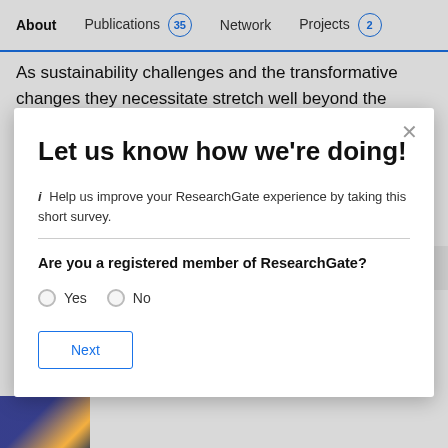About   Publications 35   Network   Projects 2
As sustainability challenges and the transformative changes they necessitate stretch well beyond the boundaries of individual socio-technical systems, there is a pressing need to generate more sustained interest in the dynamics occurring
Let us know how we're doing!
i Help us improve your ResearchGate experience by taking this short survey.
Are you a registered member of ResearchGate?
Yes
No
Next